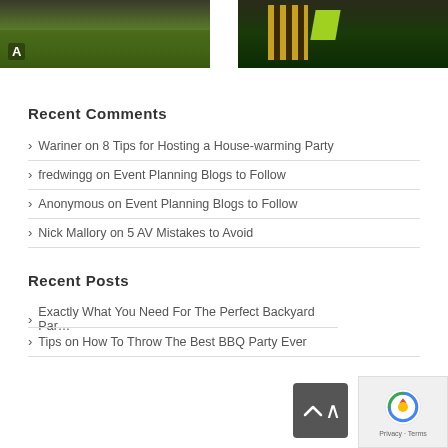[Figure (photo): Two photos side by side: left shows a green lawn/grass area with a letter A overlay; right shows a dark background with yellow vertical bars and green shape]
Recent Comments
Wariner on 8 Tips for Hosting a House-warming Party
fredwingg on Event Planning Blogs to Follow
Anonymous on Event Planning Blogs to Follow
Nick Mallory on 5 AV Mistakes to Avoid
Recent Posts
Exactly What You Need For The Perfect Backyard Par…
Tips on How To Throw The Best BBQ Party Ever